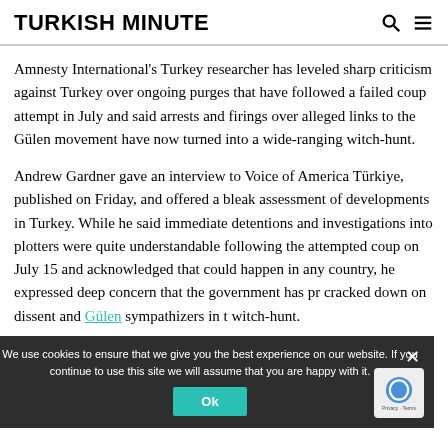TURKISH MINUTE
Amnesty International's Turkey researcher has leveled sharp criticism against Turkey over ongoing purges that have followed a failed coup attempt in July and said arrests and firings over alleged links to the Gülen movement have now turned into a wide-ranging witch-hunt.
Andrew Gardner gave an interview to Voice of America Türkiye, published on Friday, and offered a bleak assessment of developments in Turkey. While he said immediate detentions and investigations into plotters were quite understandable following the attempted coup on July 15 and acknowledged that could happen in any country, he expressed deep concern that the government has pr cracked down on dissent and Gülen sympathizers in t witch-hunt.
We use cookies to ensure that we give you the best experience on our website. If you continue to use this site we will assume that you are happy with it. Ok